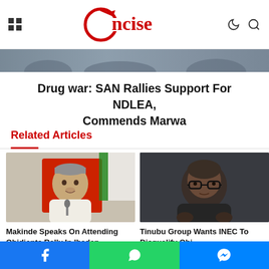Concise (logo)
[Figure (photo): Hero banner image strip with crowd/people]
Drug war: SAN Rallies Support For NDLEA, Commends Marwa
Related Articles
[Figure (photo): Photo of Makinde speaking at an event, wearing a light outfit with a cap, seated at a red chair with Nigerian flag in background]
Makinde Speaks On Attending Obidients Rally In Ibadan
[Figure (photo): Photo of Peter Obi wearing dark outfit and glasses, against a dark background]
Tinubu Group Wants INEC To Disqualify Obi
Facebook | WhatsApp | Messenger social share buttons